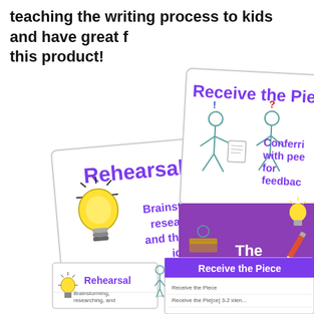teaching the writing process to kids and have great feedback on this product!
[Figure (illustration): Educational cards and materials about the writing process, showing: a 'Rehearsal' card with a light bulb icon and text 'Brainstorming, researching, and thinking of ideas'; a partially visible 'Receive the Pie[ce]' card showing two figures with Conferring with peers for feedback text; a purple 'The Writing Process' poster/book cover; and smaller thumbnail cards at the bottom showing 'Rehearsal' and 'Receive the Piece' cards.]